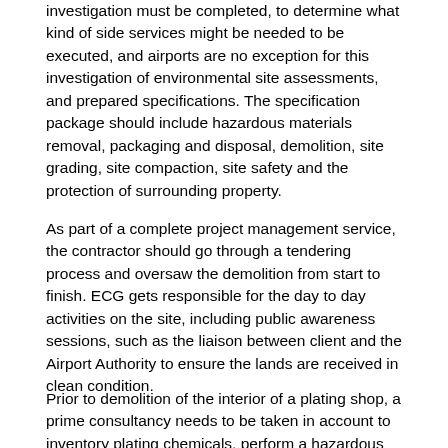investigation must be completed, to determine what kind of side services might be needed to be executed, and airports are no exception for this investigation of environmental site assessments, and prepared specifications. The specification package should include hazardous materials removal, packaging and disposal, demolition, site grading, site compaction, site safety and the protection of surrounding property.
As part of a complete project management service, the contractor should go through a tendering process and oversaw the demolition from start to finish. ECG gets responsible for the day to day activities on the site, including public awareness sessions, such as the liaison between client and the Airport Authority to ensure the lands are received in clean condition.
Prior to demolition of the interior of a plating shop, a prime consultancy needs to be taken in account to inventory plating chemicals, perform a hazardous materials assessment of the building, prepare specification packages, pre-qualify contractors